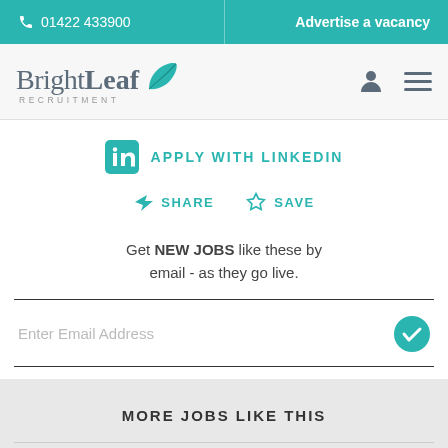📞 01422 433900   |   Advertise a vacancy
[Figure (logo): BrightLeaf Recruitment logo with teal leaf icon and RECRUITMENT subtitle]
APPLY WITH LINKEDIN
SHARE   SAVE
Get NEW JOBS like these by email - as they go live.
Enter Email Address
MORE JOBS LIKE THIS